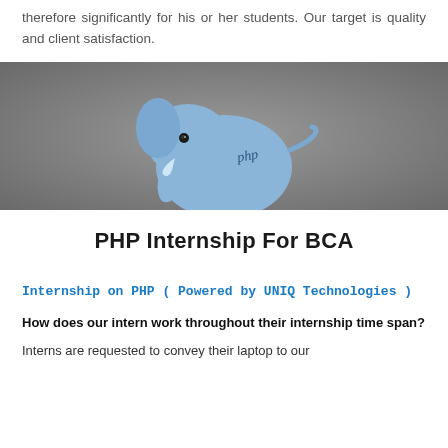therefore significantly for his or her students. Our target is quality and client satisfaction.
[Figure (illustration): 3D rendered blue PHP elephant mascot (elephpant) on a gray background, with 'php' text written on its side.]
PHP Internship For BCA
Internship on PHP ( Powered by UNIQ Technologies )
How does our intern work throughout their internship time span?
Interns are requested to convey their laptop to our